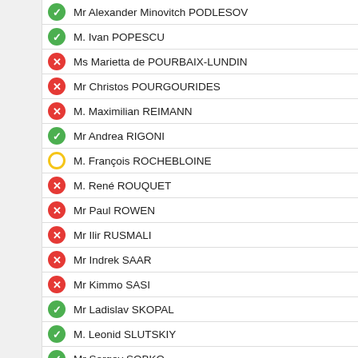Mr Alexander Minovitch PODLESOV
M. Ivan POPESCU
Ms Marietta de POURBAIX-LUNDIN
Mr Christos POURGOURIDES
M. Maximilian REIMANN
Mr Andrea RIGONI
M. François ROCHEBLOINE
M. René ROUQUET
Mr Paul ROWEN
Mr Ilir RUSMALI
Mr Indrek SAAR
Mr Kimmo SASI
Mr Ladislav SKOPAL
M. Leonid SLUTSKIY
Mr Sergey SOBKO
Mme Michaela ŠOJDROVÁ
Mr Michał STULIGROSZ